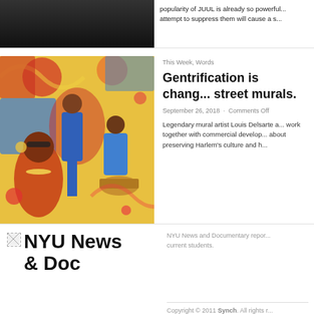[Figure (photo): Dark image at top left, partial view, appears to be a person silhouette against dark background]
popularity of JUUL is already so powerful... attempt to suppress them will cause a s...
[Figure (photo): Colorful mural painting featuring musicians and dancers in vibrant colors — jazz/street art scene with figures dancing, playing drums and other instruments]
This Week, Words
Gentrification is chang... street murals.
September 26, 2018 · Comments Off
Legendary mural artist Louis Delsarte a... work together with commercial develop... about preserving Harlem's culture and h...
[Figure (logo): NYU News & Doc logo — small broken image icon followed by bold text NYU News & Doc]
NYU News and Documentary repor... current students.
Copyright © 2011 Synch. All rights r...